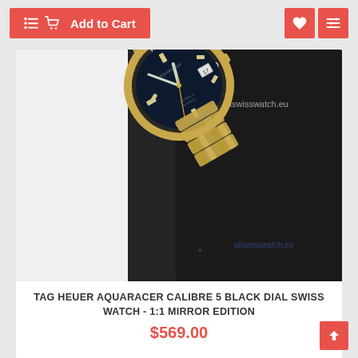Add to Cart
[Figure (photo): TAG Heuer Aquaracer watch with black dial and gold-tone stainless steel bracelet on dark background, with allswisswatch.eu watermark]
TAG HEUER AQUARACER CALIBRE 5 BLACK DIAL SWISS WATCH - 1:1 MIRROR EDITION
$569.00